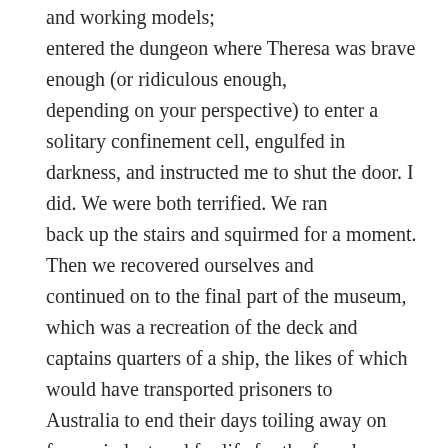and working models; entered the dungeon where Theresa was brave enough (or ridiculous enough, depending on your perspective) to enter a solitary confinement cell, engulfed in darkness, and instructed me to shut the door. I did. We were both terrified. We ran back up the stairs and squirmed for a moment. Then we recovered ourselves and continued on to the final part of the museum, which was a recreation of the deck and captains quarters of a ship, the likes of which would have transported prisoners to Australia to end their days toiling away on farms- indentured for life for the females, perhaps having gained their freedom by their life’s end for